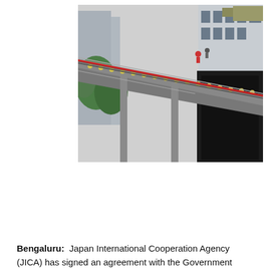[Figure (photo): Aerial view of metro rail track construction/infrastructure in Bengaluru, showing elevated rail lines converging near a station building, with green trees visible and workers on the track.]
Bengaluru:  Japan International Cooperation Agency (JICA) has signed an agreement with the Government